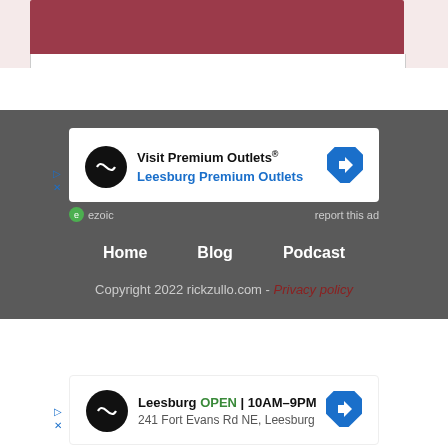[Figure (screenshot): Top portion showing a maroon/dark red banner image preview above a white card area, on a light pink background]
[Figure (screenshot): Advertisement box: Visit Premium Outlets® / Leesburg Premium Outlets with navigation arrow icon, ezoic branding, report this ad link]
Home    Blog    Podcast
Copyright 2022 rickzullo.com - Privacy policy
[Figure (screenshot): Advertisement box at bottom: Leesburg OPEN 10AM-9PM, 241 Fort Evans Rd NE, Leesburg with navigation arrow icon]